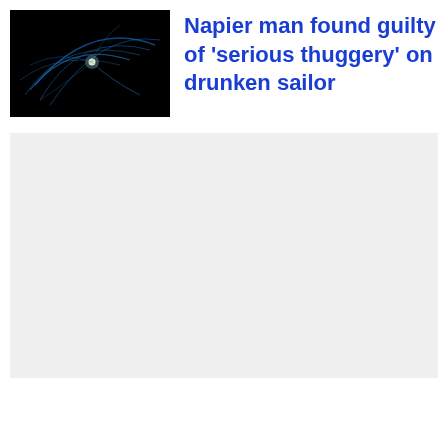[Figure (photo): Dark thumbnail image with blue light streaks and curves on a black background, resembling a light-painting or fiber optic effect]
Napier man found guilty of 'serious thuggery' on drunken sailor